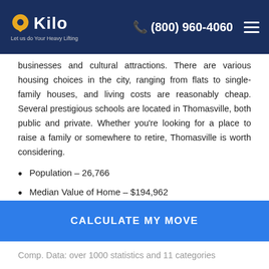Kilo Moving — (800) 960-4060
businesses and cultural attractions. There are various housing choices in the city, ranging from flats to single-family houses, and living costs are reasonably cheap. Several prestigious schools are located in Thomasville, both public and private. Whether you're looking for a place to raise a family or somewhere to retire, Thomasville is worth considering.
Population – 26,766
Median Value of Home – $194,962
Median Rent – $625
Overall Cost of Living Compared to National
CALCULATE MY MOVE
Comp. Data: over 1000 statistics and 11 categories